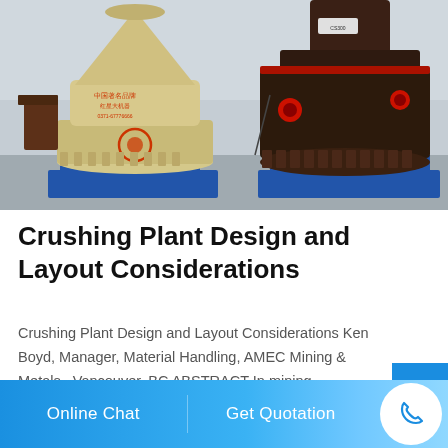[Figure (photo): Photo of two cone crushers side by side in a warehouse/factory setting. Left crusher is cream/beige colored with Chinese text markings (中国著名品牌, 红星大机器, 0371-67776666). Right crusher is dark brown/black colored. Both are mounted on blue metal frames.]
Crushing Plant Design and Layout Considerations
Crushing Plant Design and Layout Considerations Ken Boyd, Manager, Material Handling, AMEC Mining & Metals , Vancouver, BC ABSTRACT In mining operations, the layout of crushing plants and ancillary equipment and structures is a crucial factor in meeting production requirements while keeping capital and operational
Online Chat    Get Quotation